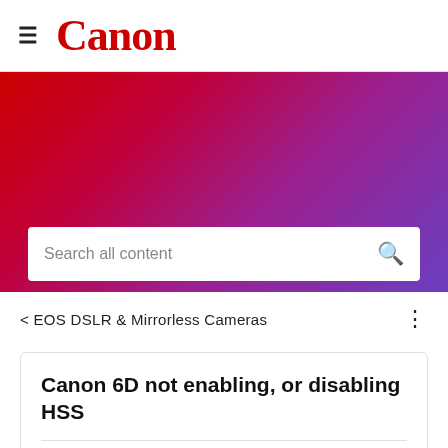≡ Canon
[Figure (other): Red to purple gradient banner with a search box containing placeholder text 'Search all content' and a search icon on the right]
< EOS DSLR & Mirrorless Cameras
Canon 6D not enabling, or disabling HSS